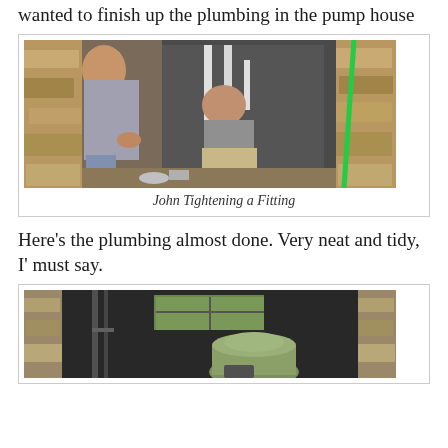wanted to finish up the plumbing in the pump house
[Figure (photo): Two men working on plumbing inside a stone pump house. One man stands in a gray tank top and jeans, the other crouches inside the stone doorway working on fittings. A green rod/pipe leans against the stone wall on the right.]
John Tightening a Fitting
Here's the plumbing almost done. Very neat and tidy, I' must say.
[Figure (photo): Interior of a dark pump house showing completed plumbing work with a filter tank visible and pipes on the walls. A window lets in light in the background.]